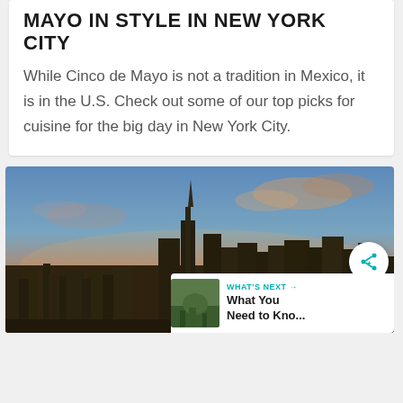MAYO IN STYLE IN NEW YORK CITY
While Cinco de Mayo is not a tradition in Mexico, it is in the U.S. Check out some of our top picks for cuisine for the big day in New York City.
[Figure (photo): Aerial sunset view of New York City skyline with Empire State Building prominent in the center, city sprawl visible in all directions, warm orange and purple sky with clouds.]